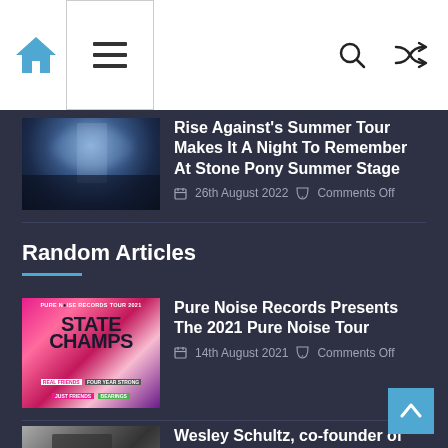Navigation header with home icon, hamburger menu, search icon, and shuffle icon
[Figure (photo): Concert photo of Rise Against performing on stage with crowd and blue stage lights]
Rise Against's Summer Tour Makes It A Night To Remember At Stone Pony Summer Stage
26th August 2022  Comments Off
Random Articles
[Figure (photo): Pure Noise Records 2021 Tour poster featuring State Champs, Real Friends, Four Year Strong, Just Friends, Bearings]
Pure Noise Records Presents The 2021 Pure Noise Tour
14th August 2021  Comments Off
[Figure (photo): Black and white photo of Wesley Schultz, co-founder of The Lumineers]
Wesley Schultz, co-founder of The Lumineers, unveils debut solo album 'Vignettes'